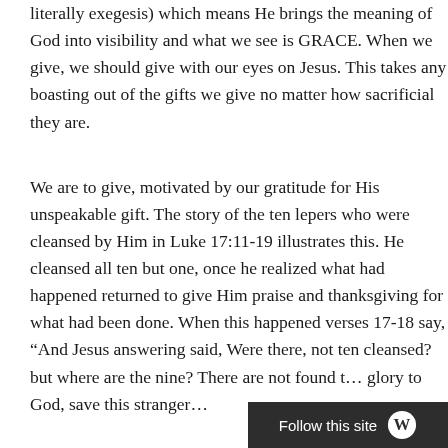literally exegesis) which means He brings the meaning of God into visibility and what we see is GRACE. When we give, we should give with our eyes on Jesus. This takes any boasting out of the gifts we give no matter how sacrificial they are.
We are to give, motivated by our gratitude for His unspeakable gift. The story of the ten lepers who were cleansed by Him in Luke 17:11-19 illustrates this. He cleansed all ten but one, once he realized what had happened returned to give Him praise and thanksgiving for what had been done. When this happened verses 17-18 say, “And Jesus answering said, Were there, not ten cleansed? but where are the nine? There are not found t… glory to God, save this stranger…